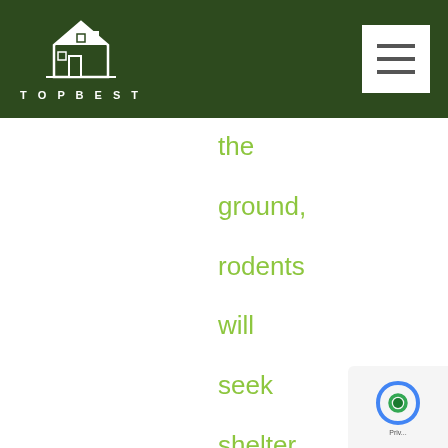TOPBEST
the ground, rodents will seek shelter. Unfortunately, rodents are attracted to warmth. The